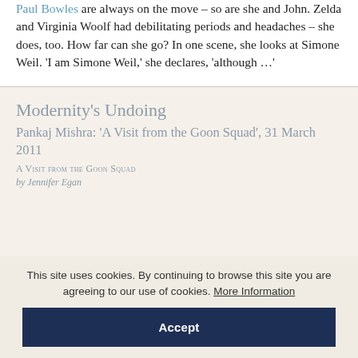Paul Bowles are always on the move – so are she and John. Zelda and Virginia Woolf had debilitating periods and headaches – she does, too. How far can she go? In one scene, she looks at Simone Weil. 'I am Simone Weil,' she declares, 'although …'
Modernity's Undoing
Pankaj Mishra: 'A Visit from the Goon Squad', 31 March 2011
A Visit from the Goon Squad
by Jennifer Egan
This site uses cookies. By continuing to browse this site you are agreeing to our use of cookies. More Information
Accept